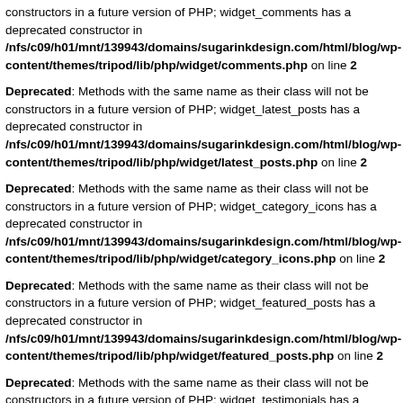constructors in a future version of PHP; widget_comments has a deprecated constructor in /nfs/c09/h01/mnt/139943/domains/sugarinkdesign.com/html/blog/wp-content/themes/tripod/lib/php/widget/comments.php on line 2
Deprecated: Methods with the same name as their class will not be constructors in a future version of PHP; widget_latest_posts has a deprecated constructor in /nfs/c09/h01/mnt/139943/domains/sugarinkdesign.com/html/blog/wp-content/themes/tripod/lib/php/widget/latest_posts.php on line 2
Deprecated: Methods with the same name as their class will not be constructors in a future version of PHP; widget_category_icons has a deprecated constructor in /nfs/c09/h01/mnt/139943/domains/sugarinkdesign.com/html/blog/wp-content/themes/tripod/lib/php/widget/category_icons.php on line 2
Deprecated: Methods with the same name as their class will not be constructors in a future version of PHP; widget_featured_posts has a deprecated constructor in /nfs/c09/h01/mnt/139943/domains/sugarinkdesign.com/html/blog/wp-content/themes/tripod/lib/php/widget/featured_posts.php on line 2
Deprecated: Methods with the same name as their class will not be constructors in a future version of PHP; widget_testimonials has a deprecated constructor in /nfs/c09/h01/mnt/139943/domains/sugarinkdesign.com/html/blog/wp-content/themes/tripod/lib/php/widget/testimonials.php on line 2
Deprecated: Methods with the same name as their class will not be constructors in a future version of PHP; widget_instagram has a deprecated constructor in